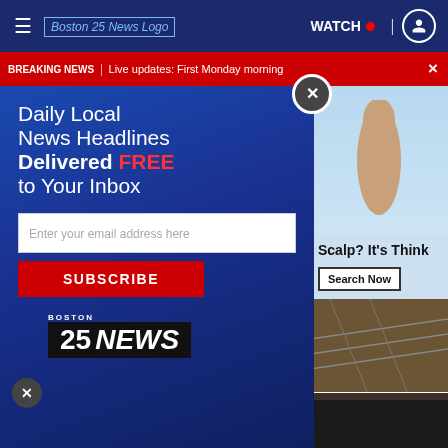Boston 25 News | WATCH
BREAKING NEWS | Live updates: First Monday morning
[Figure (screenshot): Newsletter signup popup for Boston 25 News. Dark blue background with text: Daily Local News Headlines Delivered FREE to Your Inbox. Email input field and Subscribe button. Boston 25 NEWS logo at bottom.]
Scalp? It's Think
Search Now
ORDER NOW
seamless